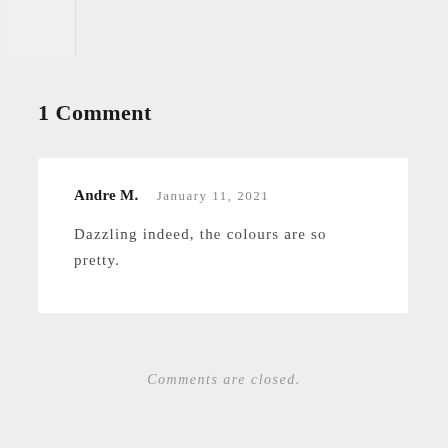1 Comment
Andre M.  January 11, 2021
Dazzling indeed, the colours are so pretty.
Comments are closed.